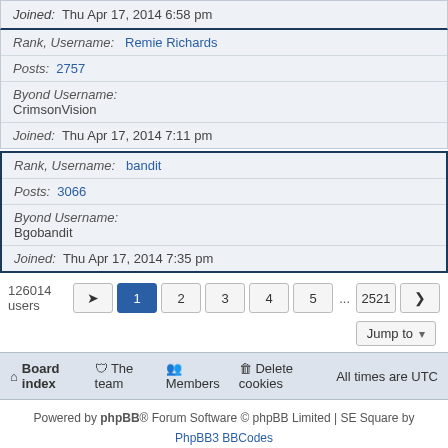Joined: Thu Apr 17, 2014 6:58 pm
Rank, Username: Remie Richards
Posts: 2757
Byond Username: CrimsonVision
Joined: Thu Apr 17, 2014 7:11 pm
Rank, Username: bandit
Posts: 3066
Byond Username: Bgobandit
Joined: Thu Apr 17, 2014 7:35 pm
126014 users  1 2 3 4 5 ... 2521
Jump to
Board index  The team  Members  Delete cookies  All times are UTC
Powered by phpBB® Forum Software © phpBB Limited | SE Square by PhpBB3 BBCodes phpBB Two Factor Authentication © paul999 Privacy | Terms